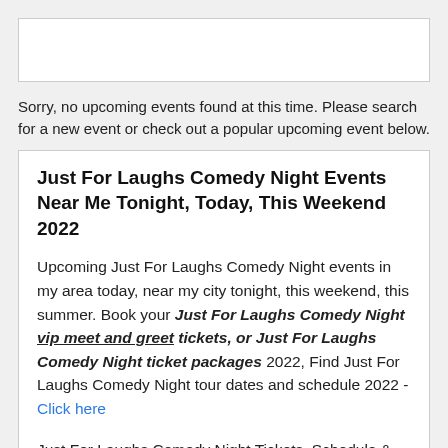[Figure (other): Empty white box at the top of the page]
Sorry, no upcoming events found at this time. Please search for a new event or check out a popular upcoming event below.
Just For Laughs Comedy Night Events Near Me Tonight, Today, This Weekend 2022
Upcoming Just For Laughs Comedy Night events in my area today, near my city tonight, this weekend, this summer. Book your Just For Laughs Comedy Night vip meet and greet tickets, or Just For Laughs Comedy Night ticket packages 2022, Find Just For Laughs Comedy Night tour dates and schedule 2022 - Click here
Just For Laughs Comedy Night Tickets, Schedule & Tour Dates 2022. Browse Just For Laughs Comedy Night Tour Dates 2022 and See full Just...